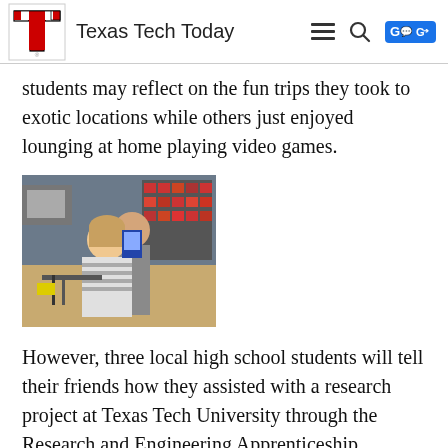Texas Tech Today
students may reflect on the fun trips they took to exotic locations while others just enjoyed lounging at home playing video games.
[Figure (photo): Two students working in a laboratory/engineering setting, one holding a device while the other looks on]
However, three local high school students will tell their friends how they assisted with a research project at Texas Tech University through the Research and Engineering Apprenticeship Program (REAP).